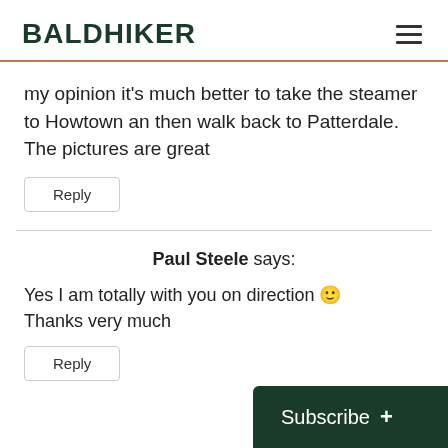BALDHIKER
my opinion it's much better to take the steamer to Howtown an then walk back to Patterdale. The pictures are great
Reply
Paul Steele says:
Yes I am totally with you on direction 🙂 Thanks very much
Reply
Subscribe +